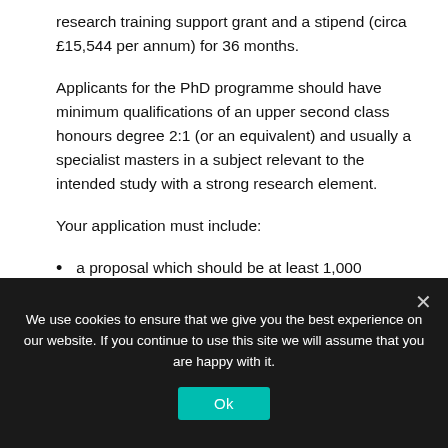research training support grant and a stipend (circa £15,544 per annum) for 36 months.
Applicants for the PhD programme should have minimum qualifications of an upper second class honours degree 2:1 (or an equivalent) and usually a specialist masters in a subject relevant to the intended study with a strong research element.
Your application must include:
a proposal which should be at least 1,000
We use cookies to ensure that we give you the best experience on our website. If you continue to use this site we will assume that you are happy with it.